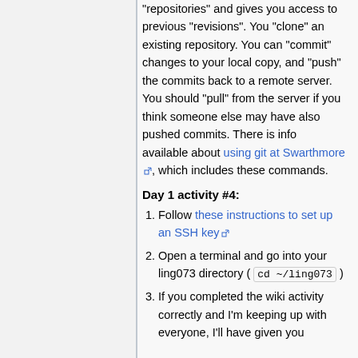work on projects. It stores work in "repositories" and gives you access to previous "revisions". You "clone" an existing repository. You can "commit" changes to your local copy, and "push" the commits back to a remote server. You should "pull" from the server if you think someone else may have also pushed commits. There is info available about using git at Swarthmore, which includes these commands.
Day 1 activity #4:
Follow these instructions to set up an SSH key
Open a terminal and go into your ling073 directory ( cd ~/ling073 )
If you completed the wiki activity correctly and I'm keeping up with everyone, I'll have given you